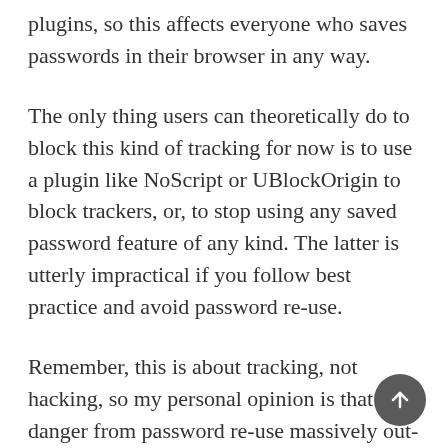plugins, so this affects everyone who saves passwords in their browser in any way.
The only thing users can theoretically do to block this kind of tracking for now is to use a plugin like NoScript or UBlockOrigin to block trackers, or, to stop using any saved password feature of any kind. The latter is utterly impractical if you follow best practice and avoid password re-use.
Remember, this is about tracking, not hacking, so my personal opinion is that the danger from password re-use massively out-weighs the danger from being tracked. I'm going to keep using my password manager!